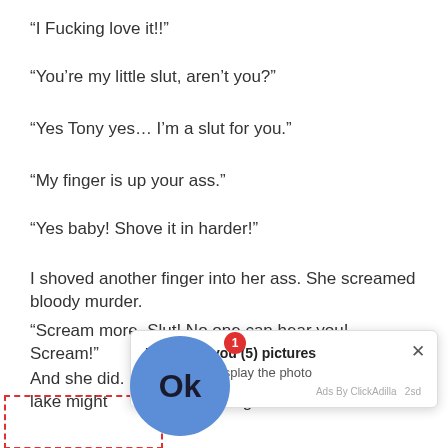“I Fucking love it!!”
“You’re my little slut, aren’t you?”
“Yes Tony yes… I’m a slut for you.”
“My finger is up your ass.”
“Yes baby! Shove it in harder!”
I shoved another finger into her ass. She screamed bloody murder.
“Scream more, Slut! No one can hear you! Scream!”
And she did. I think the people two miles across the lake might coming
[Figure (screenshot): Popup ad notification: 'Kate sent you (5) pictures - Click OK to display the photo' with a blue OK circle button, notification badge showing 1, and close X button. Footer shows 'Ads By ClickAdilla 2sd'. Dashed red rectangle outline in bottom-left corner.]